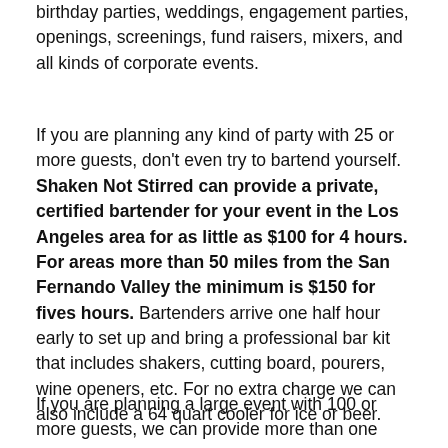birthday parties, weddings, engagement parties, openings, screenings, fund raisers, mixers, and all kinds of corporate events.
If you are planning any kind of party with 25 or more guests, don't even try to bartend yourself. Shaken Not Stirred can provide a private, certified bartender for your event in the Los Angeles area for as little as $100 for 4 hours. For areas more than 50 miles from the San Fernando Valley the minimum is $150 for fives hours. Bartenders arrive one half hour early to set up and bring a professional bar kit that includes shakers, cutting board, pourers, wine openers, etc. For no extra charge we can also include a 64 quart cooler for ice or beer.
If you are planning a large event with 100 or more guests, we can provide more than one bartender and/or servers. Call for rates if you are planning a large event or have